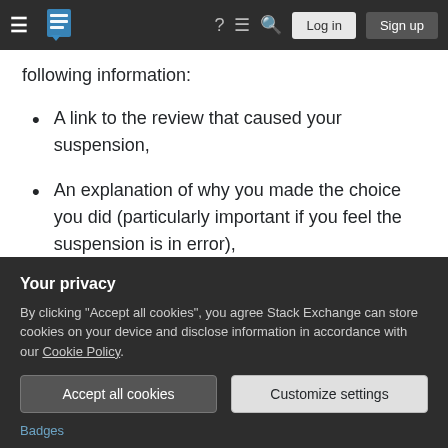Stack Exchange navigation bar with Log in and Sign up buttons
following information:
A link to the review that caused your suspension,
An explanation of why you made the choice you did (particularly important if you feel the suspension is in error),
A request to understand what the correct choice should have been and why.
In the future, take your time while reviewing and make sure each task is given adequate attention. If you're not certain
Your privacy
By clicking "Accept all cookies", you agree Stack Exchange can store cookies on your device and disclose information in accordance with our Cookie Policy.
Accept all cookies
Customize settings
Badges